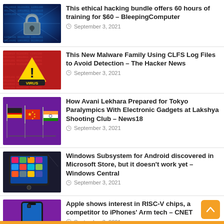This ethical hacking bundle offers 60 hours of training for $60 – BleepingComputer
September 3, 2021
This New Malware Family Using CLFS Log Files to Avoid Detection – The Hacker News
September 3, 2021
How Avani Lekhara Prepared for Tokyo Paralympics With Electronic Gadgets at Lakshya Shooting Club – News18
September 3, 2021
Windows Subsystem for Android discovered in Microsoft Store, but it doesn't work yet – Windows Central
September 3, 2021
Apple shows interest in RISC-V chips, a competitor to iPhones' Arm tech – CNET
September 3, 2021